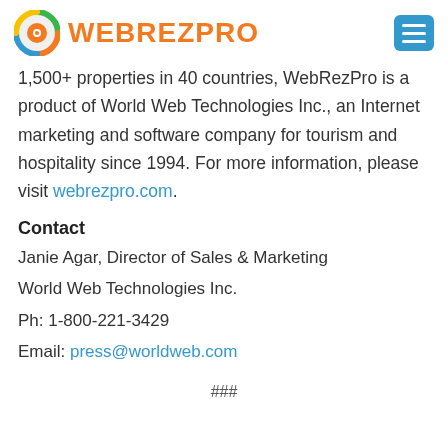WEBREZPRO
1,500+ properties in 40 countries, WebRezPro is a product of World Web Technologies Inc., an Internet marketing and software company for tourism and hospitality since 1994. For more information, please visit webrezpro.com.
Contact
Janie Agar, Director of Sales & Marketing
World Web Technologies Inc.
Ph: 1-800-221-3429
Email: press@worldweb.com
###